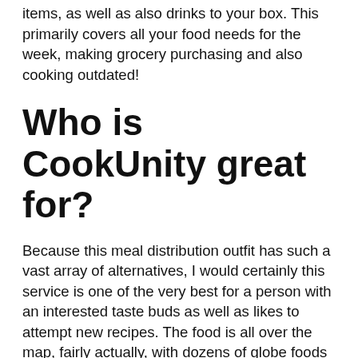items, as well as also drinks to your box. This primarily covers all your food needs for the week, making grocery purchasing and also cooking outdated!
Who is CookUnity great for?
Because this meal distribution outfit has such a vast array of alternatives, I would certainly this service is one of the very best for a person with an interested taste buds as well as likes to attempt new recipes. The food is all over the map, fairly actually, with dozens of globe foods represented, but there is uniformity in high quality and all of the dishes I attempted went to the very least